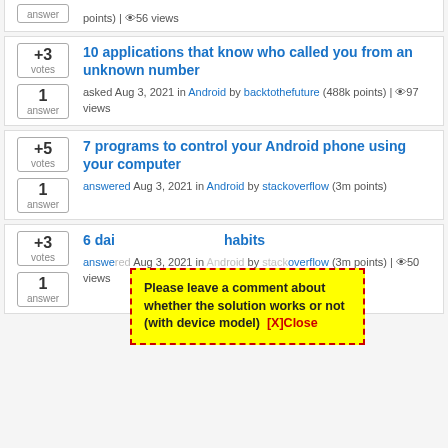answer | 👁56 views (partial top item)
+3 votes, 1 answer — 10 applications that know who called you from an unknown number — asked Aug 3, 2021 in Android by backtothefuture (488k points) | 👁97 views
+5 votes, 1 answer — 7 programs to control your Android phone using your computer — answered Aug 3, 2021 in Android by stackoverflow (3m points)
+3 votes, 1 answer — 6 dai... habits — answered ... stackoverflow (3m points) | 👁50 views
Please leave a comment about whether the solution works or not (with device model)  [X]Close